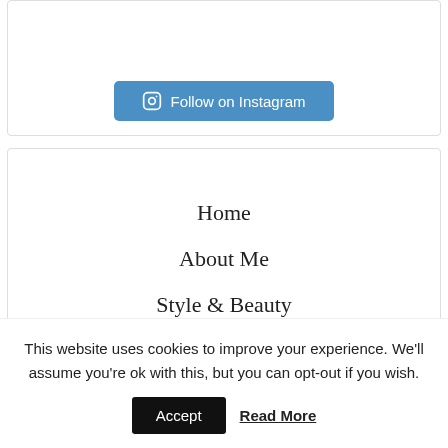[Figure (other): Follow on Instagram button with Instagram camera icon, styled in blue]
Home
About Me
Style & Beauty
This website uses cookies to improve your experience. We'll assume you're ok with this, but you can opt-out if you wish.
Accept
Read More